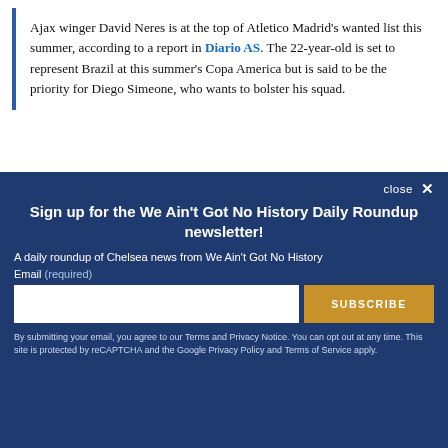Ajax winger David Neres is at the top of Atletico Madrid's wanted list this summer, according to a report in Diario AS. The 22-year-old is set to represent Brazil at this summer's Copa America but is said to be the priority for Diego Simeone, who wants to bolster his squad.
close ✕
Sign up for the We Ain't Got No History Daily Roundup newsletter!
A daily roundup of Chelsea news from We Ain't Got No History
Email (required)
SUBSCRIBE
By submitting your email, you agree to our Terms and Privacy Notice. You can opt out at any time. This site is protected by reCAPTCHA and the Google Privacy Policy and Terms of Service apply.